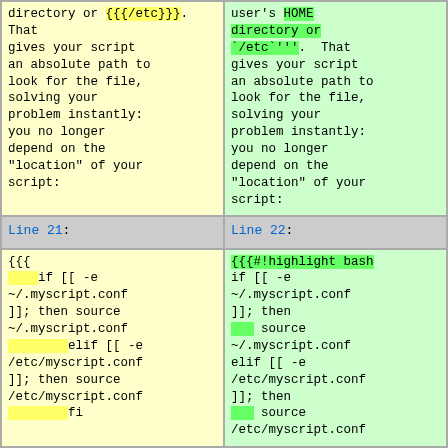directory or {{{/etc}}}. That gives your script an absolute path to look for the file, solving your problem instantly: you no longer depend on the "location" of your script:
user's HOME directory or `/etc`'''. That gives your script an absolute path to look for the file, solving your problem instantly: you no longer depend on the "location" of your script:
Line 21:
Line 22:
{{{
    if [[ -e ~/.myscript.conf ]]; then source ~/.myscript.conf
        elif [[ -e /etc/myscript.conf ]]; then source /etc/myscript.conf
        fi
{{{#!highlight bash
if [[ -e ~/.myscript.conf ]]; then
    source ~/.myscript.conf
elif [[ -e /etc/myscript.conf ]]; then
    source /etc/myscript.conf